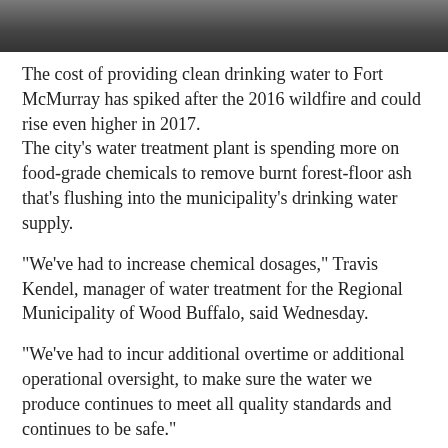[Figure (photo): Photograph of people, partially visible, cropped at the top of the page]
The cost of providing clean drinking water to Fort McMurray has spiked after the 2016 wildfire and could rise even higher in 2017.
The city's water treatment plant is spending more on food-grade chemicals to remove burnt forest-floor ash that's flushing into the municipality's drinking water supply.
"We've had to increase chemical dosages," Travis Kendel, manager of water treatment for the Regional Municipality of Wood Buffalo, said Wednesday.
"We've had to incur additional overtime or additional operational oversight, to make sure the water we produce continues to meet all quality standards and continues to be safe."
In 2015, the municipality spent about $1 million on chemicals to purify Fort McMurray's water supply. In 2016, the May wildfire pushed up chemical costs by an additional $500,000. And this year, the municipality may have to spend an extra